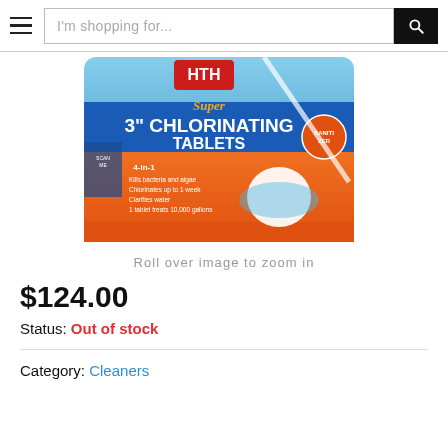[Figure (screenshot): E-commerce website header with hamburger menu icon, search bar labeled 'I'm shopping for...' and a black search button with magnifying glass icon.]
[Figure (photo): HTH Super 3-inch Chlorinating Tablets product package. Orange and blue bag with text: Super 3" CHLORINATING TABLETS, 4-in-1, Kills bacteria and algae, Chlorinates up to 1 week, Clarifies water, 1 tablet treats 10,000 gallons.]
Roll over image to zoom in
$124.00
Status: Out of stock
Category: Cleaners